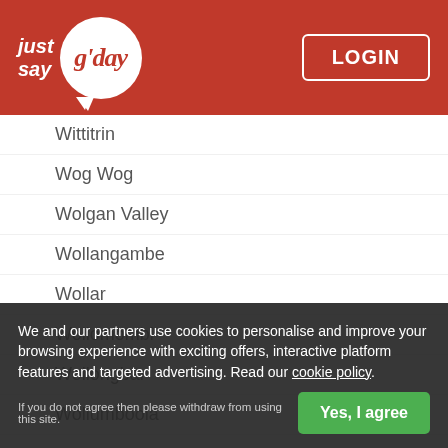[Figure (logo): Just Say G'day logo with speech bubble on red header background, with LOGIN button]
Wittitrin
Wog Wog
Wolgan Valley
Wollangambe
Wollar
Wollomombi
Wollongbar
Wollumboola
We and our partners use cookies to personalise and improve your browsing experience with exciting offers, interactive platform features and targeted advertising. Read our cookie policy.
If you do not agree then please withdraw from using this site.